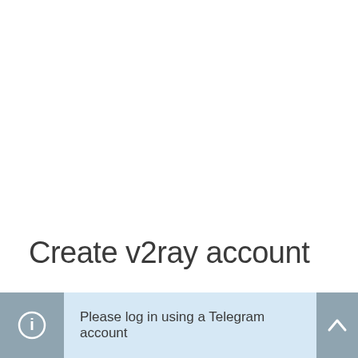Create v2ray account
Please log in using a Telegram account